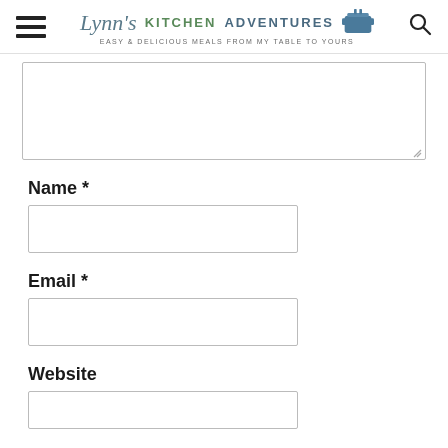Lynn's Kitchen Adventures — Easy & Delicious Meals From My Table To Yours
[Figure (screenshot): Textarea input box (comment field), partially visible, with resize handle at bottom right]
Name *
[Figure (screenshot): Text input box for Name field]
Email *
[Figure (screenshot): Text input box for Email field]
Website
[Figure (screenshot): Text input box for Website field (partially visible)]